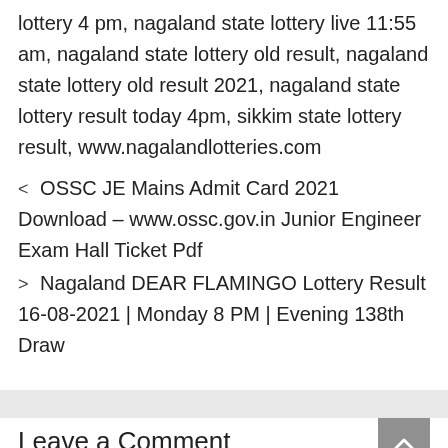lottery 4 pm, nagaland state lottery live 11:55 am, nagaland state lottery old result, nagaland state lottery old result 2021, nagaland state lottery result today 4pm, sikkim state lottery result, www.nagalandlotteries.com
< OSSC JE Mains Admit Card 2021 Download – www.ossc.gov.in Junior Engineer Exam Hall Ticket Pdf
> Nagaland DEAR FLAMINGO Lottery Result 16-08-2021 | Monday 8 PM | Evening 138th Draw
Leave a Comment